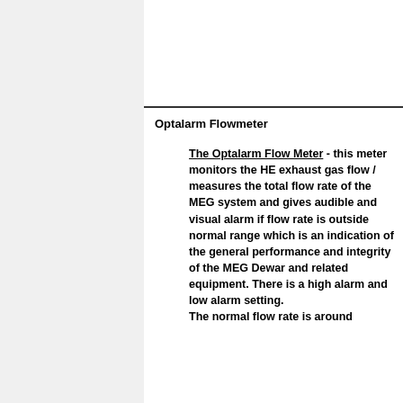Optalarm Flowmeter
The Optalarm Flow Meter - this meter monitors the HE exhaust gas flow / measures the total flow rate of the MEG system and gives audible and visual alarm if flow rate is outside normal range which is an indication of the general performance and integrity of the MEG Dewar and related equipment. There is a high alarm and low alarm setting. The normal flow rate is around